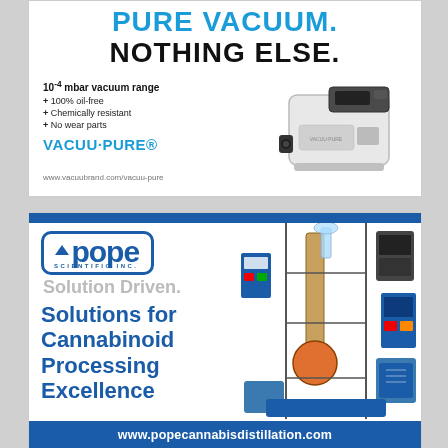PURE VACUUM. NOTHING ELSE.
10⁻⁴ mbar vacuum range
100% oil-free
Chemically resistant
No wear parts
VACUU·PURE®
www.vacuubrand.com/vacuu-pure
[Figure (photo): VACUU·PURE vacuum pump device, grey/silver colored compact unit]
[Figure (logo): POPE Scientific Inc. logo with triangle icon inside rounded rectangle border]
Solution Driven.
Solutions for Cannabinoid Processing Excellence
[Figure (photo): Laboratory distillation equipment setup with glassware, heating/cooling units and control panels]
www.popecannabisdistillation.com